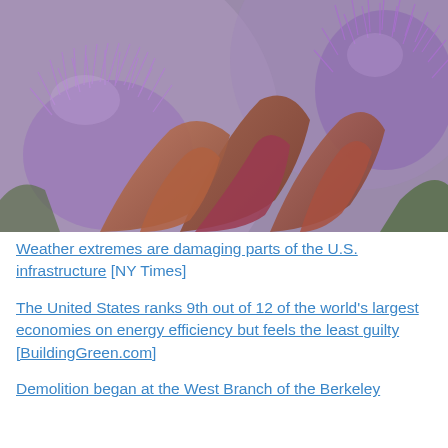[Figure (photo): Close-up photograph of purple thistle flowers with brown/reddish artichoke-like bracts and spiky purple filaments]
Weather extremes are damaging parts of the U.S. infrastructure [NY Times]
The United States ranks 9th out of 12 of the world's largest economies on energy efficiency but feels the least guilty [BuildingGreen.com]
Demolition began at the West Branch of the Berkeley